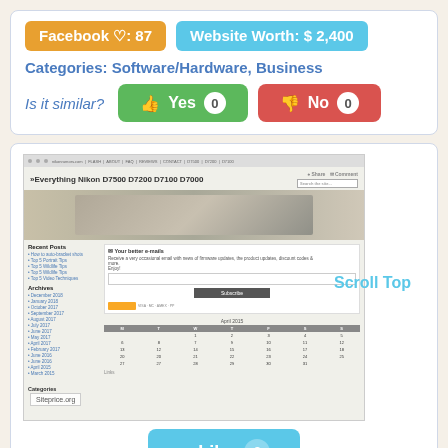Facebook ♡: 87
Website Worth: $ 2,400
Categories: Software/Hardware, Business
Is it similar?
Yes 0
No 0
[Figure (screenshot): Screenshot of a Nikon camera blog website showing 'Everything Nikon D7500 D7200 D7100 D7000' with recent posts sidebar, archives, email subscription form, calendar widget, and Siteprice.org watermark]
Scroll Top
Like 0